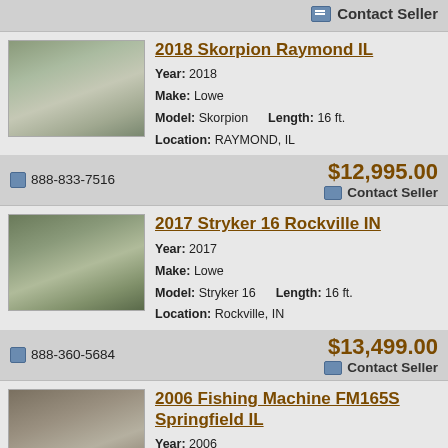Contact Seller
2018 Skorpion Raymond IL
Year: 2018
Make: Lowe
Model: Skorpion  Length: 16 ft.
Location: RAYMOND, IL
888-833-7516    $12,995.00   Contact Seller
2017 Stryker 16 Rockville IN
Year: 2017
Make: Lowe
Model: Stryker 16  Length: 16 ft.
Location: Rockville, IN
888-360-5684    $13,499.00   Contact Seller
2006 Fishing Machine FM165S Springfield IL
Year: 2006
Make: Lowe
Model: Fishing Machine FM165S
Length: 16 ft. 5 in.
Location: SPRINGFIELD, IL